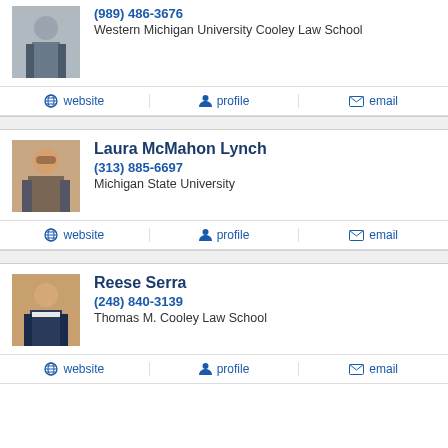[Figure (photo): Headshot of first lawyer (man in suit)]
(989) 486-3676
Western Michigan University Cooley Law School
website  profile  email
Laura McMahon Lynch
[Figure (photo): Headshot of Laura McMahon Lynch, woman with glasses]
(313) 885-6697
Michigan State University
website  profile  email
Reese Serra
[Figure (photo): Headshot of Reese Serra, young man in suit]
(248) 840-3139
Thomas M. Cooley Law School
website  profile  email